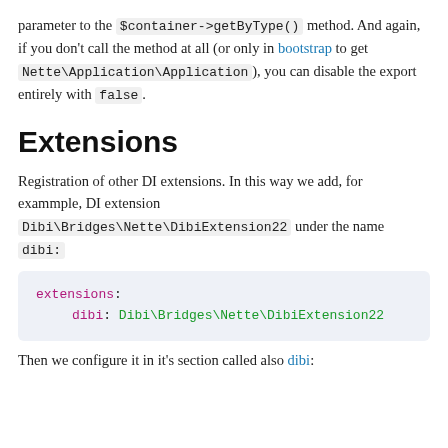parameter to the $container->getByType() method. And again, if you don't call the method at all (or only in bootstrap to get Nette\Application\Application), you can disable the export entirely with false.
Extensions
Registration of other DI extensions. In this way we add, for exammple, DI extension Dibi\Bridges\Nette\DibiExtension22 under the name dibi:
extensions:
    dibi: Dibi\Bridges\Nette\DibiExtension22
Then we configure it in it's section called also dibi: